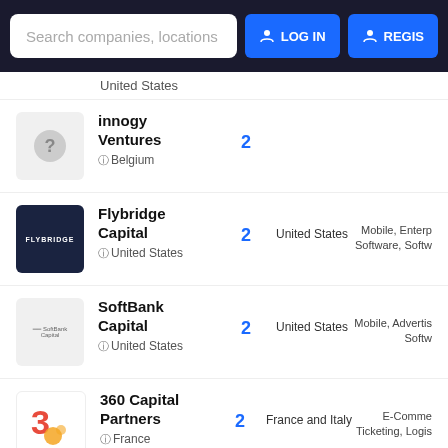[Figure (screenshot): Navigation bar with search box, LOG IN button, and REGIS(TER) button on dark background]
United States
innogy Ventures | Belgium | 2
Flybridge Capital | United States | 2 | United States | Mobile, Enterprise Software, Softw...
SoftBank Capital | United States | 2 | United States | Mobile, Advertis... Softw...
360 Capital Partners | France | 2 | France and Italy | E-Comme... Ticketing, Logis...
PPF Group | Czech Republic | 2
500 Global | United States | 2 | Fina...
Western Technology... | E-Commerce, Li...